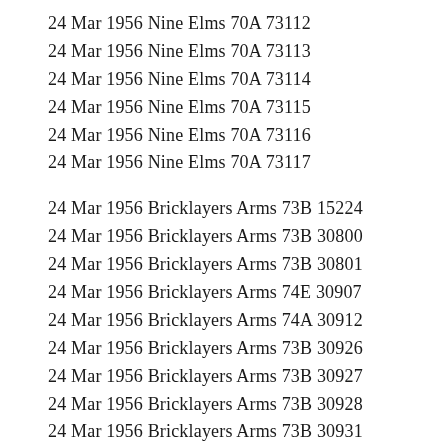24 Mar 1956 Nine Elms 70A 73112
24 Mar 1956 Nine Elms 70A 73113
24 Mar 1956 Nine Elms 70A 73114
24 Mar 1956 Nine Elms 70A 73115
24 Mar 1956 Nine Elms 70A 73116
24 Mar 1956 Nine Elms 70A 73117
24 Mar 1956 Bricklayers Arms 73B 15224
24 Mar 1956 Bricklayers Arms 73B 30800
24 Mar 1956 Bricklayers Arms 73B 30801
24 Mar 1956 Bricklayers Arms 74E 30907
24 Mar 1956 Bricklayers Arms 74A 30912
24 Mar 1956 Bricklayers Arms 73B 30926
24 Mar 1956 Bricklayers Arms 73B 30927
24 Mar 1956 Bricklayers Arms 73B 30928
24 Mar 1956 Bricklayers Arms 73B 30931